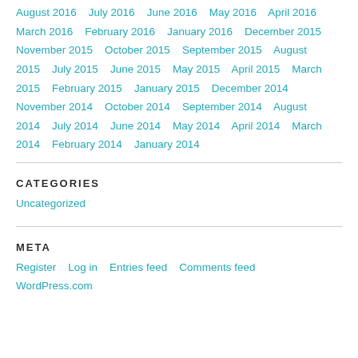August 2016  July 2016  June 2016  May 2016  April 2016  March 2016  February 2016  January 2016  December 2015  November 2015  October 2015  September 2015  August 2015  July 2015  June 2015  May 2015  April 2015  March 2015  February 2015  January 2015  December 2014  November 2014  October 2014  September 2014  August 2014  July 2014  June 2014  May 2014  April 2014  March 2014  February 2014  January 2014
CATEGORIES
Uncategorized
META
Register  Log in  Entries feed  Comments feed  WordPress.com